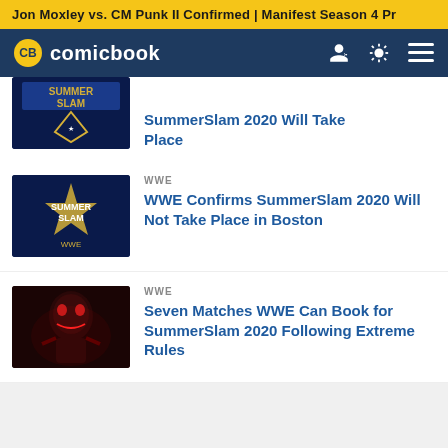Jon Moxley vs. CM Punk II Confirmed | Manifest Season 4 Pr...
comicbook
SummerSlam 2020 Will Take Place
WWE
WWE Confirms SummerSlam 2020 Will Not Take Place in Boston
WWE
Seven Matches WWE Can Book for SummerSlam 2020 Following Extreme Rules